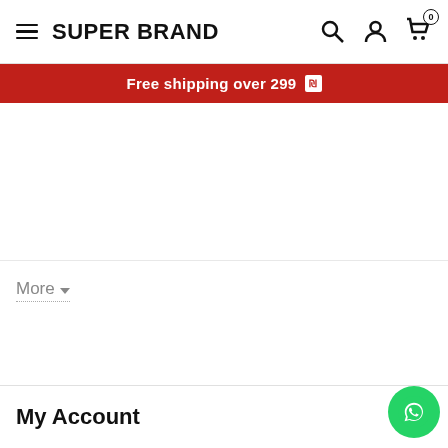≡ SUPER BRAND 🔍 👤 🛒 0
Free shipping over 299 ₪
More ▾
My Account
Become Seller